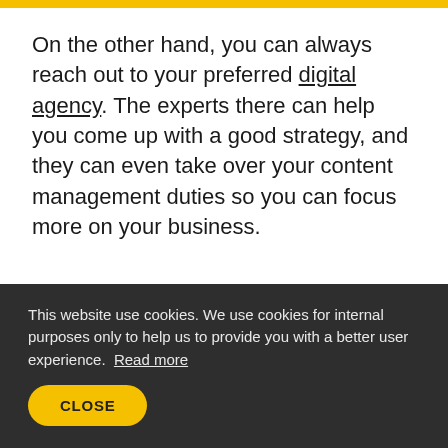On the other hand, you can always reach out to your preferred digital agency. The experts there can help you come up with a good strategy, and they can even take over your content management duties so you can focus more on your business.
CONTENT IDEATION
CONTENT STRATEGY
[Figure (illustration): Circular author avatar with yellow background and white ring border, showing a man's portrait photograph]
This website use cookies. We use cookies for internal purposes only to help us to provide you with a better user experience. Read more
CLOSE